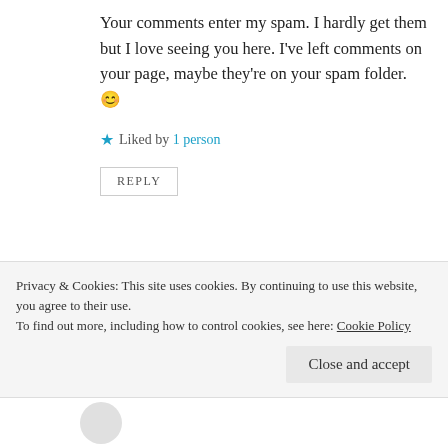Your comments enter my spam. I hardly get them but I love seeing you here. I've left comments on your page, maybe they're on your spam folder. 😊
★ Liked by 1 person
REPLY
[Bees in Amber] Adam Hughes
June 18, 2019 at 7:20 pm
Spam? Your comments are never spam. I'll go and check...
Privacy & Cookies: This site uses cookies. By continuing to use this website, you agree to their use. To find out more, including how to control cookies, see here: Cookie Policy
Close and accept